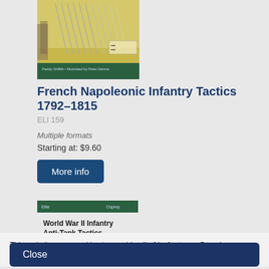[Figure (illustration): Book cover for 'French Napoleonic Infantry Tactics 1792-1815', showing a battlefield scene with soldiers and bayonets on a yellow/green background, with a green banner at bottom reading 'Paddy Griffith - Illustrated by Peter Dennis']
French Napoleonic Infantry Tactics 1792–1815
ELI 159
Multiple formats
Starting at: $9.60
More info
[Figure (illustration): Partial book cover for 'World War II Infantry Anti-Tank Tactics', showing green Osprey header and black/white text on white background]
This website uses cookies to provide all of its features. By using our website you consent to all cookies in accordance with our Cookie Policy.
Close